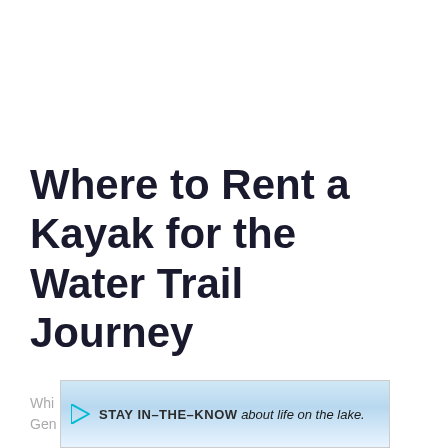Where to Rent a Kayak for the Water Trail Journey
[Figure (other): Advertisement banner with sky/clouds background. Play icon on left, text reads: STAY IN-THE-KNOW about life on the lake.]
Whi... Gen...